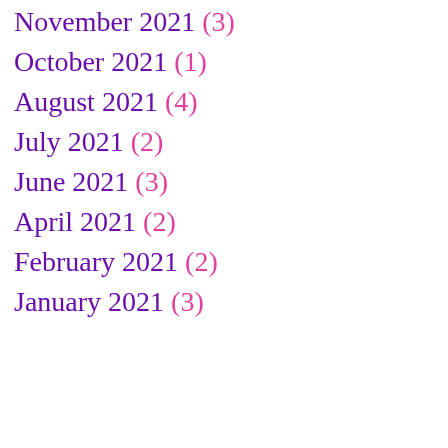November 2021 (3)
October 2021 (1)
August 2021 (4)
July 2021 (2)
June 2021 (3)
April 2021 (2)
February 2021 (2)
January 2021 (3)